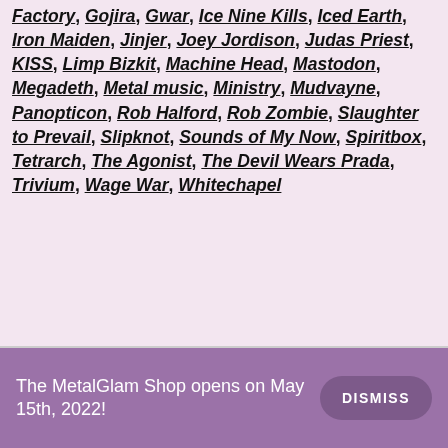Factory, Gojira, Gwar, Ice Nine Kills, Iced Earth, Iron Maiden, Jinjer, Joey Jordison, Judas Priest, KISS, Limp Bizkit, Machine Head, Mastodon, Megadeth, Metal music, Ministry, Mudvayne, Panopticon, Rob Halford, Rob Zombie, Slaughter to Prevail, Slipknot, Sounds of My Now, Spiritbox, Tetrarch, The Agonist, The Devil Wears Prada, Trivium, Wage War, Whitechapel
The MetalGlam Shop opens on May 15th, 2022!